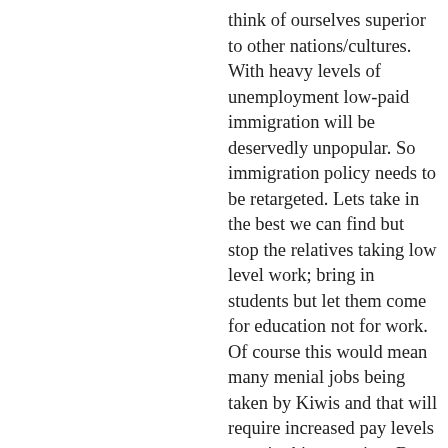think of ourselves superior to other nations/cultures. With heavy levels of unemployment low-paid immigration will be deservedly unpopular. So immigration policy needs to be retargeted. Lets take in the best we can find but stop the relatives taking low level work; bring in students but let them come for education not for work. Of course this would mean many menial jobs being taken by Kiwis and that will require increased pay levels even in this recession. But leaving low